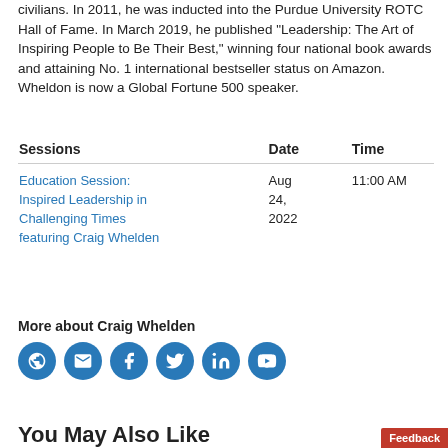civilians. In 2011, he was inducted into the Purdue University ROTC Hall of Fame. In March 2019, he published "Leadership: The Art of Inspiring People to Be Their Best," winning four national book awards and attaining No. 1 international bestseller status on Amazon. Wheldon is now a Global Fortune 500 speaker.
| Sessions | Date | Time |
| --- | --- | --- |
| Education Session: Inspired Leadership in Challenging Times featuring Craig Whelden | Aug 24, 2022 | 11:00 AM |
More about Craig Whelden
[Figure (infographic): Row of six circular blue social media icon buttons: globe/website, email, Facebook, Twitter, LinkedIn, YouTube]
You May Also Like